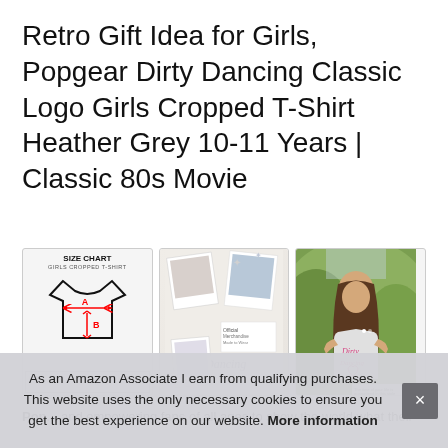Retro Gift Idea for Girls, Popgear Dirty Dancing Classic Logo Girls Cropped T-Shirt Heather Grey 10-11 Years | Classic 80s Movie
[Figure (photo): Three product images: a size chart for girls cropped t-shirt, a collage showing Dirty Dancing branded items, and a girl wearing the grey Dirty Dancing cropped t-shirt outdoors]
As an Amazon Associate I earn from qualifying purchases. This website uses the only necessary cookies to ensure you get the best experience on our website. More information
Pop... and empowering fans of all ages to show the world what their